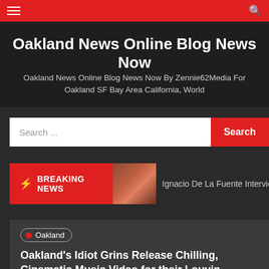Navigation bar with menu icon and search icon
Oakland News Online Blog News Now
Oakland News Online Blog News Now By Zennie62Media For Oakland SF Bay Area California, World
Search ...
BREAKING NEWS  Ignacio De La Fuente Interview: Fo
Oakland
Oakland's Idiot Grins Release Chilling, Cinematic Music Video for their Louvin Brothers Cover “Satan’s Jeweled – EIN